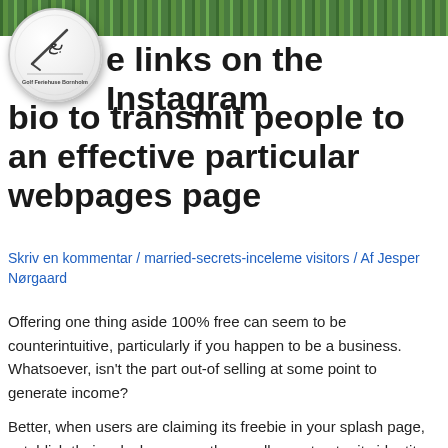Golf Ferieuhse Bornholm
[Figure (logo): Golf Feriehuse Bornholm logo: white golf ball circle with golf club silhouette and text]
e links on the Instagram bio to transmit people to an effective particular webpages page
Skriv en kommentar / married-secrets-inceleme visitors / Af Jesper Nørgaard
Offering one thing aside 100% free can seem to be counterintuitive, particularly if you happen to be a business. Whatsoever, isn't the part out-of selling at some point to generate income?
Better, when users are claiming its freebie in your splash page, establish their splash page so they really must enter its identity